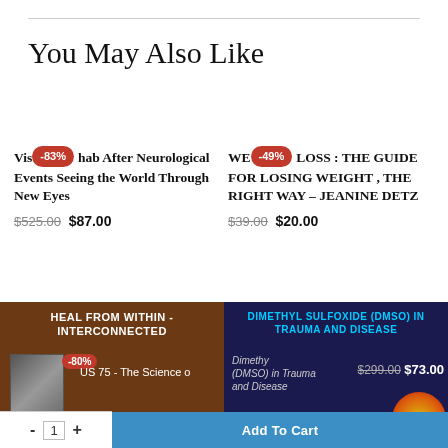You May Also Like
-83% Viso-rehab After Neurological Events Seeing the World Through New Eyes $525.00 $87.00
-49% WEIGHT LOSS : THE GUIDE FOR LOSING WEIGHT , THE RIGHT WAY – JEANINE DETZ $39.00 $20.00
[Figure (screenshot): Bottom product cards: left card shows 'HEAL FROM WITHIN - INTERCONNECTED' book with -80% badge, text 'US 75 - The Science o...'; right card shows 'DIMETHYL SULFOXIDE (DMSO) IN TRAUMA AND DISEASE' with price $299.00 $73.00. Quantity selector and Add To Cart button overlay at bottom.]